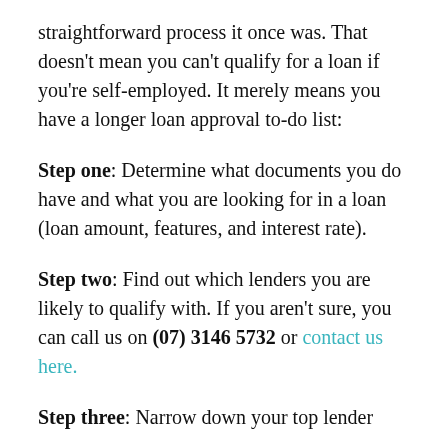straightforward process it once was. That doesn't mean you can't qualify for a loan if you're self-employed. It merely means you have a longer loan approval to-do list:
Step one: Determine what documents you do have and what you are looking for in a loan (loan amount, features, and interest rate).
Step two: Find out which lenders you are likely to qualify with. If you aren't sure, you can call us on (07) 3146 5732 or contact us here.
Step three: Narrow down your top lender